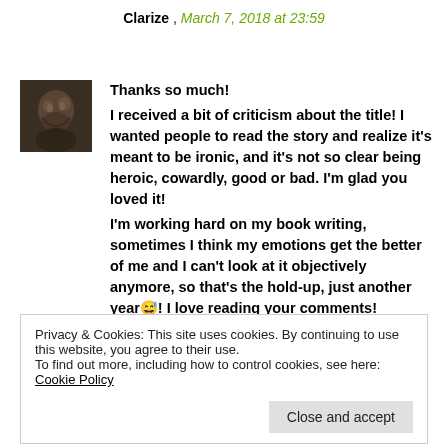Clarize , March 7, 2018 at 23:59
Thanks so much!
I received a bit of criticism about the title! I wanted people to read the story and realize it's meant to be ironic, and it's not so clear being heroic, cowardly, good or bad. I'm glad you loved it!
I'm working hard on my book writing, sometimes I think my emotions get the better of me and I can't look at it objectively anymore, so that's the hold-up, just another year😅! I love reading your comments!
Privacy & Cookies: This site uses cookies. By continuing to use this website, you agree to their use.
To find out more, including how to control cookies, see here: Cookie Policy
Close and accept